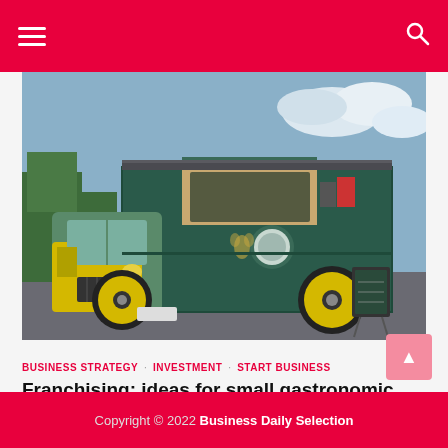≡  🔍
[Figure (photo): Vintage green food truck with yellow wheels parked outdoors, serving window open, chalkboard menu sign visible, trees and cloudy sky in background]
BUSINESS STRATEGY  INVESTMENT  START BUSINESS
Franchising: ideas for small gastronomic businesses
June 24, 2022
Copyright © 2022 Business Daily Selection